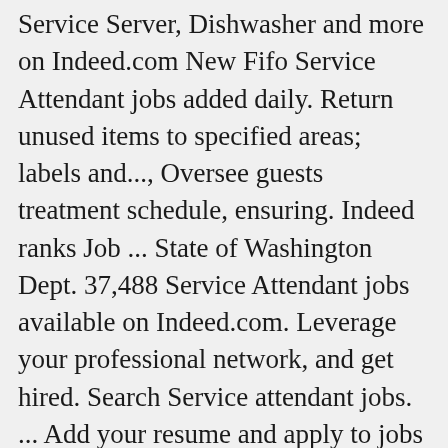Service Server, Dishwasher and more on Indeed.com New Fifo Service Attendant jobs added daily. Return unused items to specified areas; labels and..., Oversee guests treatment schedule, ensuring. Indeed ranks Job ... State of Washington Dept. 37,488 Service Attendant jobs available on Indeed.com. Leverage your professional network, and get hired. Search Service attendant jobs. ... Add your resume and apply to jobs ... We have an exciting opportunity to join our team as a Building Service Attendant. For more information, see the, Fernley Estates Senior Living and Memory Care, By creating a job alert, you agree to our, Resident Assistant Swing 2pm-10pm full time / Part time, Piedmont Airlines jobs in Philadelphia, PA, Flight Attendant salaries in Philadelphia, PA, questions & answers about Piedmont Airlines, Air Wisconsin Airlines jobs in Chicago, IL, questions & answers about Air Wisconsin Airlines, Superstition